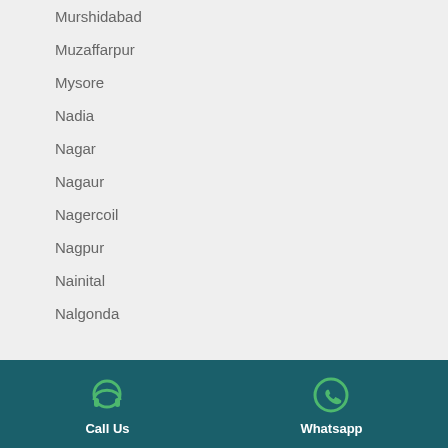Murshidabad
Muzaffarpur
Mysore
Nadia
Nagar
Nagaur
Nagercoil
Nagpur
Nainital
Nalgonda
Call Us | Whatsapp